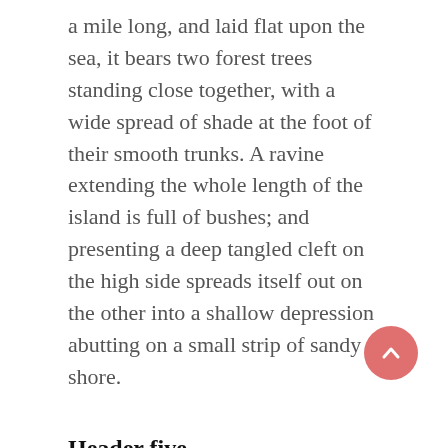a mile long, and laid flat upon the sea, it bears two forest trees standing close together, with a wide spread of shade at the foot of their smooth trunks. A ravine extending the whole length of the island is full of bushes; and presenting a deep tangled cleft on the high side spreads itself out on the other into a shallow depression abutting on a small strip of sandy shore.
Header five
That last is no more than a foot high, and about seven paces across, a mere flat top of a grey rock which smokes like a hot cinder after